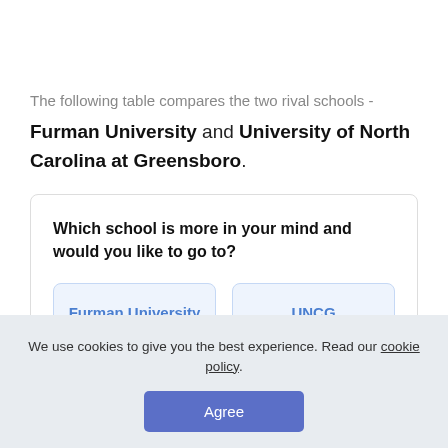The following table compares the two rival schools -
Furman University and University of North Carolina at Greensboro.
Which school is more in your mind and would you like to go to?
Furman University
UNCG
We use cookies to give you the best experience. Read our cookie policy.